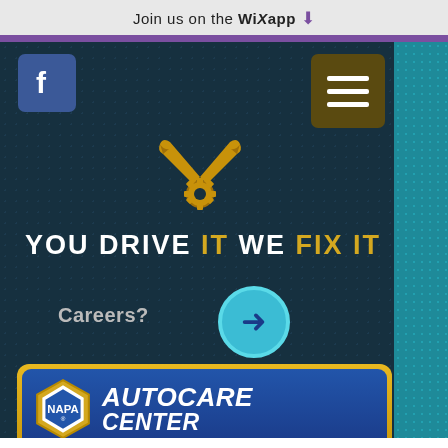Join us on the WiX app ↓
[Figure (screenshot): Automotive repair shop website screenshot showing Facebook button, hamburger menu, crossed wrench/gear icon, tagline 'YOU DRIVE IT WE FIX IT', Careers link with arrow button, NAPA AutoCare Center logo banner, business name 'Lincolnway Sales & Service', and call button 'Call us: 717-624-8500']
YOU DRIVE IT WE FIX IT
Careers
[Figure (logo): NAPA AutoCare Center logo - hexagonal NAPA emblem with AutoCare Center text on blue background with gold border]
Lincolnway Sales & Service
Call us: 717-624-8500